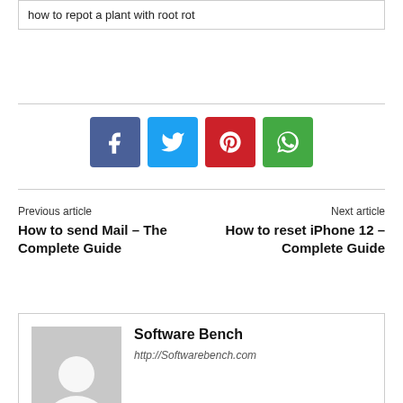how to repot a plant with root rot
[Figure (other): Social share buttons: Facebook, Twitter, Pinterest, WhatsApp]
Previous article
How to send Mail – The Complete Guide
Next article
How to reset iPhone 12 – Complete Guide
Software Bench
http://Softwarebench.com